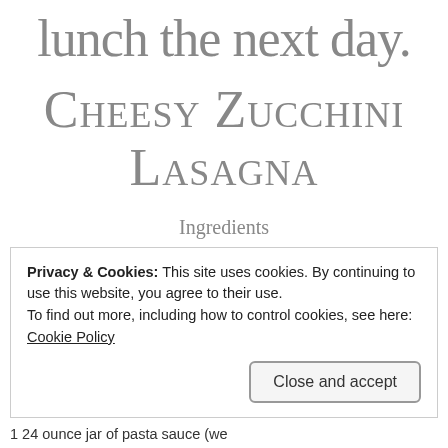lunch the next day.
Cheesy Zucchini Lasagna
Ingredients
Privacy & Cookies: This site uses cookies. By continuing to use this website, you agree to their use.
To find out more, including how to control cookies, see here:
Cookie Policy
Close and accept
1 24 ounce jar of pasta sauce (we